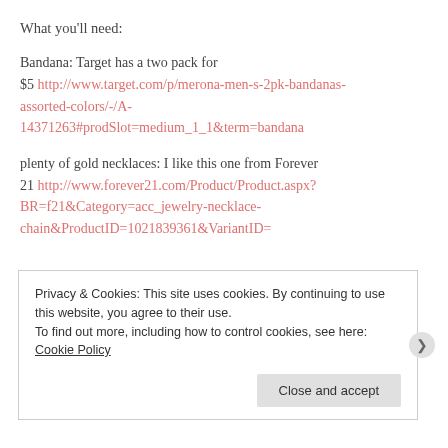What you'll need:
Bandana: Target has a two pack for $5 http://www.target.com/p/merona-men-s-2pk-bandanas-assorted-colors/-/A-14371263#prodSlot=medium_1_1&term=bandana
plenty of gold necklaces: I like this one from Forever 21 http://www.forever21.com/Product/Product.aspx?BR=f21&Category=acc_jewelry-necklace-chain&ProductID=1021839361&VariantID=
Privacy & Cookies: This site uses cookies. By continuing to use this website, you agree to their use. To find out more, including how to control cookies, see here: Cookie Policy
Close and accept